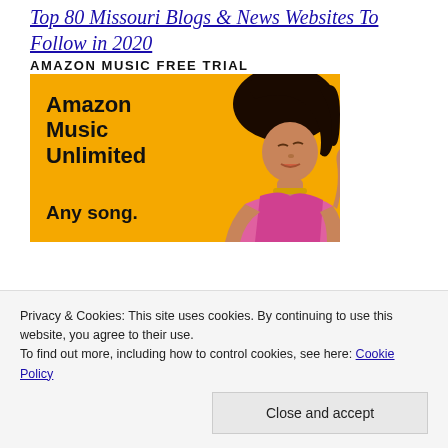Top 80 Missouri Blogs & News Websites To Follow in 2020
AMAZON MUSIC FREE TRIAL
[Figure (photo): Amazon Music Unlimited advertisement banner with yellow background showing a woman with flowing hair wearing a pink top. Text reads 'Amazon Music Unlimited' and 'Any song.' on the left side.]
Privacy & Cookies: This site uses cookies. By continuing to use this website, you agree to their use.
To find out more, including how to control cookies, see here: Cookie Policy
Close and accept